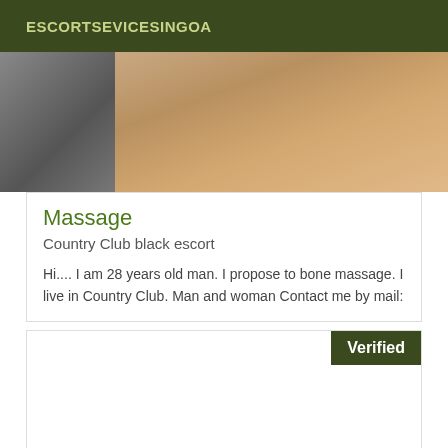ESCORTSEVICESINGOA
[Figure (photo): Partial body photo showing legs/lower body against a wall background]
Massage
Country Club black escort
Hi.... I am 28 years old man. I propose to bone massage. I live in Country Club. Man and woman Contact me by mail:
[Figure (photo): White card area with a Verified badge in the top right corner]